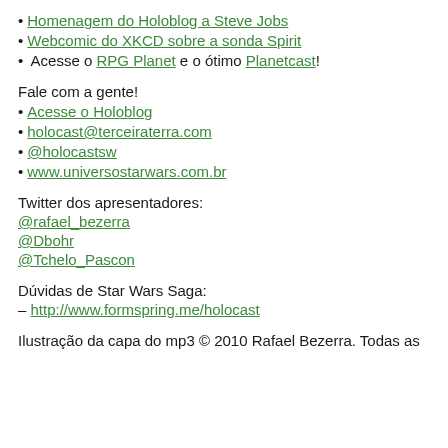Homenagem do Holoblog a Steve Jobs
Webcomic do XKCD sobre a sonda Spirit
Acesse o RPG Planet e o ótimo Planetcast!
Fale com a gente!
Acesse o Holoblog
holocast@terceiraterra.com
@holocastsw
www.universostarwars.com.br
Twitter dos apresentadores:
@rafael_bezerra
@Dbohr
@Tchelo_Pascon
Dúvidas de Star Wars Saga:
– http://www.formspring.me/holocast
Ilustração da capa do mp3 © 2010 Rafael Bezerra. Todas as